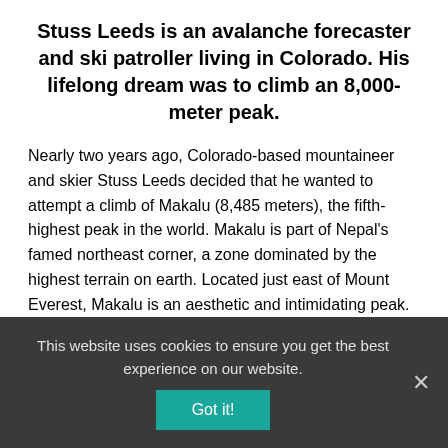Stuss Leeds is an avalanche forecaster and ski patroller living in Colorado. His lifelong dream was to climb an 8,000-meter peak.
Nearly two years ago, Colorado-based mountaineer and skier Stuss Leeds decided that he wanted to attempt a climb of Makalu (8,485 meters), the fifth-highest peak in the world. Makalu is part of Nepal’s famed northeast corner, a zone dominated by the highest terrain on earth. Located just east of Mount Everest, Makalu is an aesthetic and intimidating peak. Its south and west aspects hold sparse amounts of snow and ice, forming some of the world’s highest altitude...
This website uses cookies to ensure you get the best experience on our website.